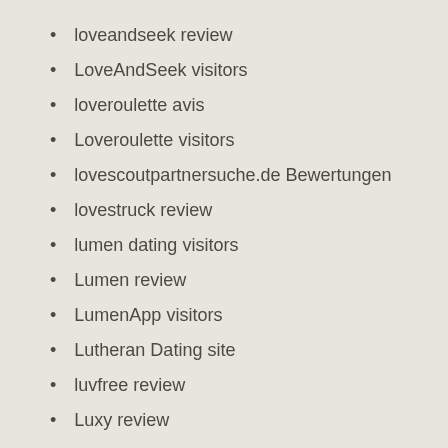loveandseek review
LoveAndSeek visitors
loveroulette avis
Loveroulette visitors
lovescoutpartnersuche.de Bewertungen
lovestruck review
lumen dating visitors
Lumen review
LumenApp visitors
Lutheran Dating site
luvfree review
Luxy review
mail order bride
mail order brides
Maine Online Payday Loan